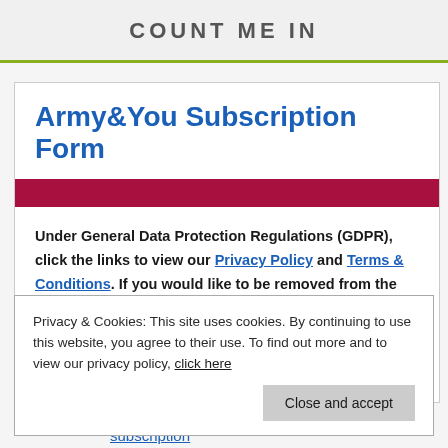COUNT ME IN
Army&You Subscription Form
Under General Data Protection Regulations (GDPR), click the links to view our Privacy Policy and Terms & Conditions. If you would like to be removed from the list of Army&You recipients, you can do so at any time by filling in the form below. If you live in your own home or private rental, and would like to subscribe, fill in the form below.
Privacy & Cookies: This site uses cookies. By continuing to use this website, you agree to their use. To find out more and to view our privacy policy, click here
subscription